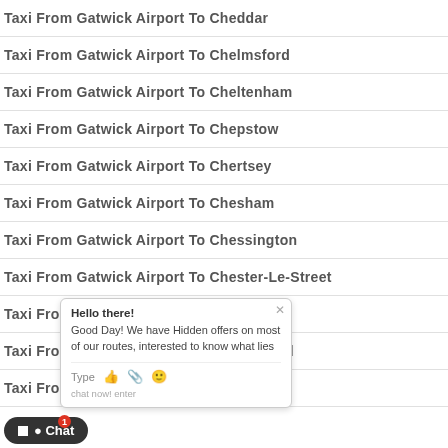Taxi From Gatwick Airport To Cheddar
Taxi From Gatwick Airport To Chelmsford
Taxi From Gatwick Airport To Cheltenham
Taxi From Gatwick Airport To Chepstow
Taxi From Gatwick Airport To Chertsey
Taxi From Gatwick Airport To Chesham
Taxi From Gatwick Airport To Chessington
Taxi From Gatwick Airport To Chester-Le-Street
Taxi From Gatwick Airport To Chester
Taxi From Gatwick Airport To Chesterfield
Taxi From Gatwick Airport To Chichester
[Figure (screenshot): Live chat widget overlay showing a chat bubble with 'Hello there! Good Day! We have Hidden offers on most of our routes, interested to know what lies...' message, input bar with Type, thumbs up, attachment, emoji icons, and a Chat button with notification badge 1.]